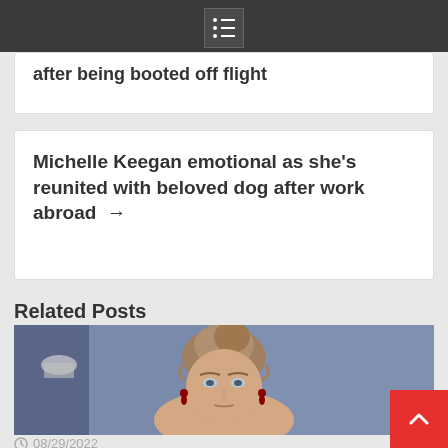after being booted off flight
Michelle Keegan emotional as she’s reunited with beloved dog after work abroad →
Related Posts
[Figure (photo): Woman with curly updo hair and red drop earrings looking serious, blue background]
08/29/2022